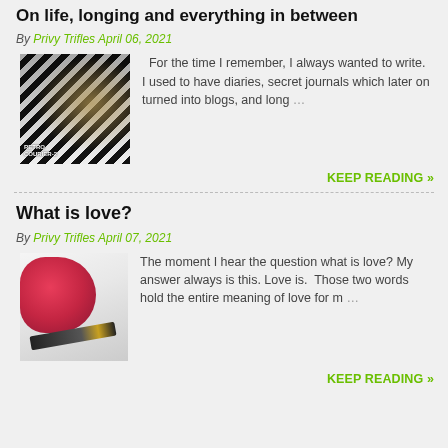On life, longing and everything in between
By Privy Trifles April 06, 2021
[Figure (photo): Thumbnail image with zebra-stripe pattern and book cover overlay]
For the time I remember, I always wanted to write. I used to have diaries, secret journals which later on turned into blogs, and long …
KEEP READING »
What is love?
By Privy Trifles April 07, 2021
[Figure (photo): Photo of pink roses and a fountain pen on a white surface]
The moment I hear the question what is love? My answer always is this. Love is.  Those two words hold the entire meaning of love for m …
KEEP READING »